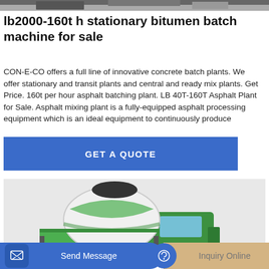[Figure (photo): Top banner photo of construction/industrial equipment]
lb2000-160t h stationary bitumen batch machine for sale
CON-E-CO offers a full line of innovative concrete batch plants. We offer stationary and transit plants and central and ready mix plants. Get Price. 160t per hour asphalt batching plant. LB 40T-160T Asphalt Plant for Sale. Asphalt mixing plant is a fully-equipped asphalt processing equipment which is an ideal equipment to continuously produce
[Figure (other): Blue button with text GET A QUOTE]
[Figure (photo): Green concrete mixer truck on light grey background]
[Figure (other): Bottom bar with Send Message and Inquiry Online buttons]